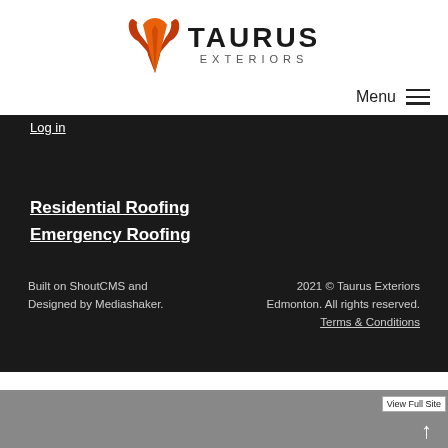[Figure (logo): Taurus Exteriors logo with orange bull horns/shield icon and bold text TAURUS EXTERIORS]
Menu ≡
Log in
Residential Roofing
Emergency Roofing
Built on ShoutCMS and Designed by Mediashaker.
2021 © Taurus Exteriors Edmonton. All rights reserved. Terms & Conditions
View Full Site ↑